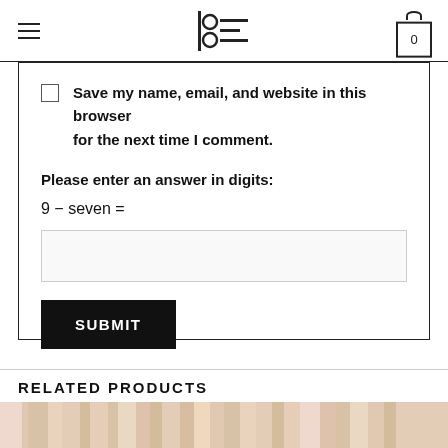logo and navigation header with hamburger menu, logo, and cart icon showing 0
Save my name, email, and website in this browser for the next time I comment.
Please enter an answer in digits:
9 − seven =
SUBMIT
RELATED PRODUCTS
[Figure (photo): Row of related product images at bottom of page]